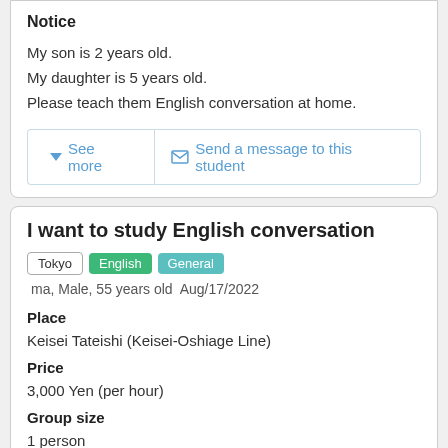Notice
My son is 2 years old.
My daughter is 5 years old.
Please teach them English conversation at home.
See more | Send a message to this student
I want to study English conversation
Tokyo  English  General  ma, Male, 55 years old  Aug/17/2022
Place
Keisei Tateishi (Keisei-Oshiage Line)
Price
3,000 Yen (per hour)
Group size
1 person
Lesson Level